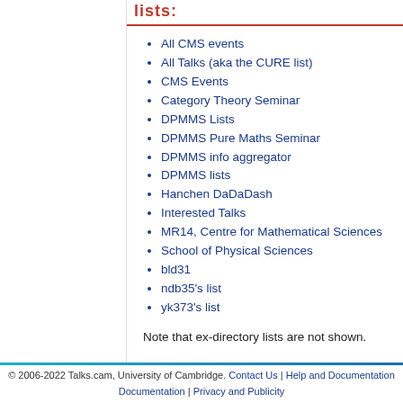lists:
All CMS events
All Talks (aka the CURE list)
CMS Events
Category Theory Seminar
DPMMS Lists
DPMMS Pure Maths Seminar
DPMMS info aggregator
DPMMS lists
Hanchen DaDaDash
Interested Talks
MR14, Centre for Mathematical Sciences
School of Physical Sciences
bld31
ndb35's list
yk373's list
Note that ex-directory lists are not shown.
© 2006-2022 Talks.cam, University of Cambridge. Contact Us | Help and Documentation | Privacy and Publicity